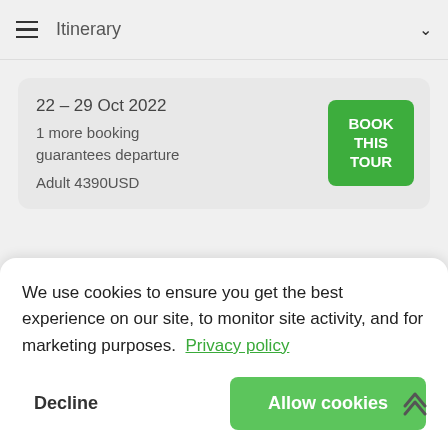Itinerary
22 – 29 Oct 2022
1 more booking guarantees departure
Adult 4390USD
BOOK THIS TOUR
13 – 20 Nov 2022
BOOK THIS
We use cookies to ensure you get the best experience on our site, to monitor site activity, and for marketing purposes. Privacy policy
Decline   Allow cookies